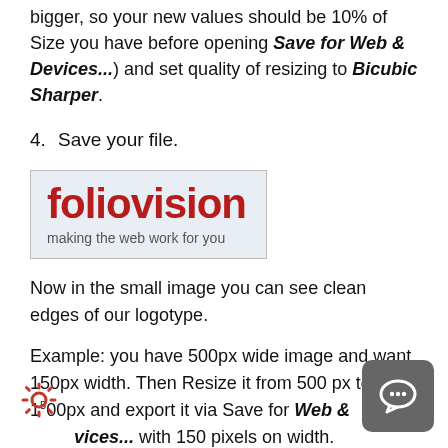bigger, so your new values should be 10% of Size you have before opening Save for Web & Devices...) and set quality of resizing to Bicubic Sharper.
4. Save your file.
[Figure (logo): Foliovision logo: red bold text 'foliovision' with tagline 'making the web work for you' on light blue background with border]
Now in the small image you can see clean edges of our logotype.
Example: you have 500px wide image and want 150px width. Then Resize it from 500 px to 1500px and export it via Save for Web & Devices... with 150 pixels on width.